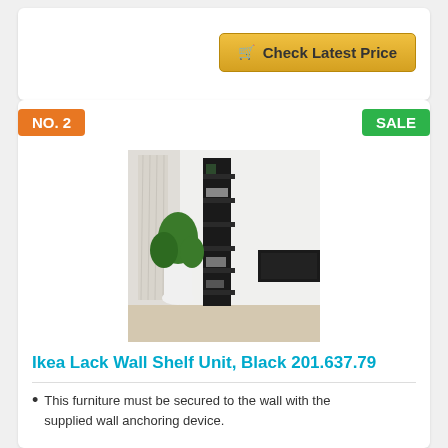[Figure (other): Check Latest Price button with shopping cart icon, gold/yellow gradient background]
NO. 2
SALE
[Figure (photo): IKEA Lack Wall Shelf Unit in black mounted on a white wall, with a plant and TV visible in the room]
Ikea Lack Wall Shelf Unit, Black 201.637.79
This furniture must be secured to the wall with the supplied wall anchoring device.